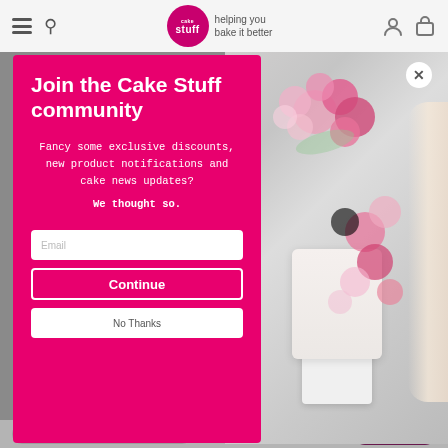cake stuff — helping you bake it better
[Figure (screenshot): Modal popup on cake decorating website showing newsletter signup form with hot pink background, white text heading 'Join the Cake Stuff community', body text about exclusive discounts, email input field, Continue button, and No Thanks button. Right half shows photo of a white cake decorated with pink flowers on a white cake stand, held by person in white shirt.]
Join the Cake Stuff community
Fancy some exclusive discounts, new product notifications and cake news updates?
We thought so.
Email
Continue
No Thanks
special offers sign up to our newsletter